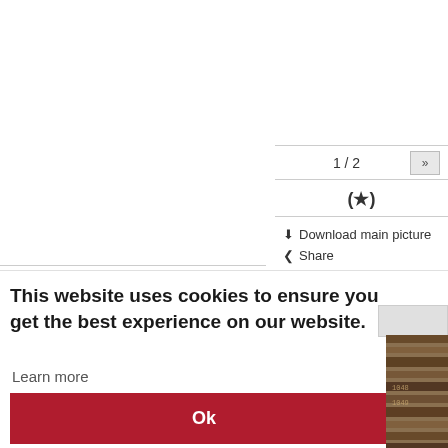[Figure (screenshot): Left image viewer panel - white empty area with border]
1 / 2
[Figure (other): Star rating symbol (★) in parentheses]
Download main picture
Share
This website uses cookies to ensure you get the best experience on our website.
Learn more
Ok
[Figure (photo): Partial thumbnail of a stamp or document image on the right side]